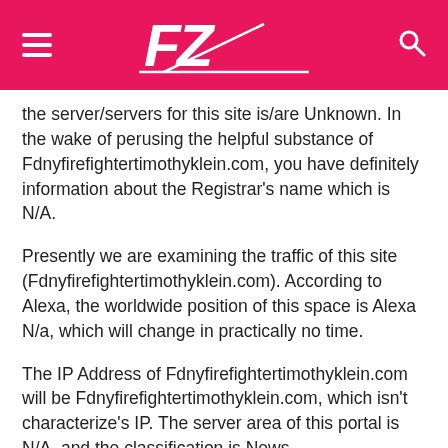FZ logo header with hamburger menu and search icon
the server/servers for this site is/are Unknown. In the wake of perusing the helpful substance of Fdnyfirefightertimothyklein.com, you have definitely information about the Registrar's name which is N/A.
Presently we are examining the traffic of this site (Fdnyfirefightertimothyklein.com). According to Alexa, the worldwide position of this space is Alexa N/a, which will change in practically no time.
The IP Address of Fdnyfirefightertimothyklein.com will be Fdnyfirefightertimothyklein.com, which isn't characterize's IP. The server area of this portal is N/A, and the classification is News.
FDNY FIREFIGHTER TIMOTHY KLEIN
The Popular expression or Trending Term is the Fdny